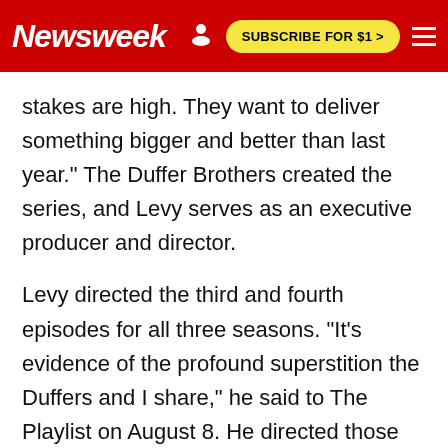Newsweek | SUBSCRIBE FOR $1 >
stakes are high. They want to deliver something bigger and better than last year." The Duffer Brothers created the series, and Levy serves as an executive producer and director.
Levy directed the third and fourth episodes for all three seasons. "It's evidence of the profound superstition the Duffers and I share," he said to The Playlist on August 8. He directed those episodes in Season 1 so he could "send the Brothers into hibernation to